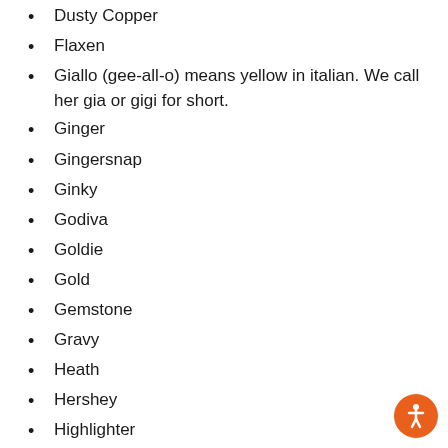Dusty Copper
Flaxen
Giallo (gee-all-o) means yellow in italian. We call her gia or gigi for short.
Ginger
Gingersnap
Ginky
Godiva
Goldie
Gold
Gemstone
Gravy
Heath
Hershey
Highlighter
Karo
Kasha – which is Ukrainian for buckwheat.